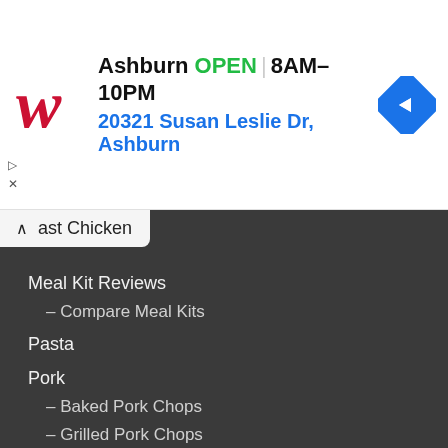[Figure (logo): Walgreens red cursive W logo]
Ashburn  OPEN | 8AM–10PM
20321 Susan Leslie Dr, Ashburn
[Figure (illustration): Blue diamond navigation/directions icon with white arrow]
ast Chicken
Meal Kit Reviews
– Compare Meal Kits
Pasta
Pork
– Baked Pork Chops
– Grilled Pork Chops
– How to Cook Pork Chops
– How to Cook Pork Tenderloin
– Pork Chop Recipes
Steak